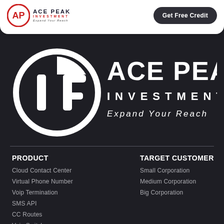ACE PEAK INVESTMENT — Expand Your Reach | Get Free Credit
[Figure (logo): Ace Peak Investment large white logo with circular AP icon and tagline 'Expand Your Reach' on dark background]
PRODUCT
Cloud Contact Center
Virtual Phone Number
Voip Termination
SMS API
CC Routes
Voip Switch
TARGET CUSTOMER
Small Corporation
Medium Corporation
Big Corporation